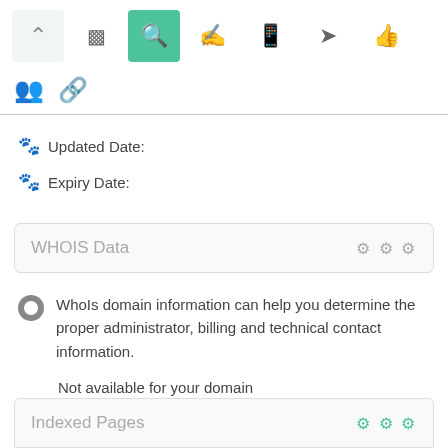[Figure (screenshot): Top navigation toolbar with icons: up arrow (light background), bar chart, search (active green), hand/pointer, mobile, send/plane, thumbs up. Second row: group/users icon, link icon.]
Updated Date:
Expiry Date:
WHOIS Data
WhoIs domain information can help you determine the proper administrator, billing and technical contact information.
Not available for your domain
Indexed Pages